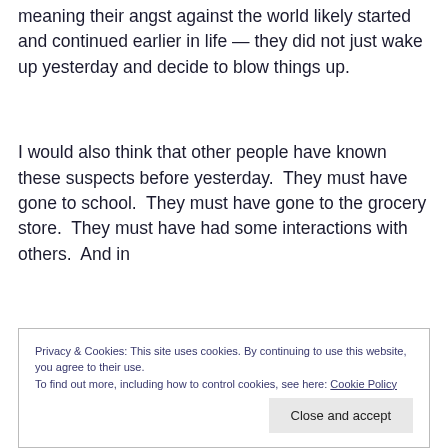meaning their angst against the world likely started and continued earlier in life — they did not just wake up yesterday and decide to blow things up.
I would also think that other people have known these suspects before yesterday.  They must have gone to school.  They must have gone to the grocery store.  They must have had some interactions with others.  And in
Privacy & Cookies: This site uses cookies. By continuing to use this website, you agree to their use.
To find out more, including how to control cookies, see here: Cookie Policy